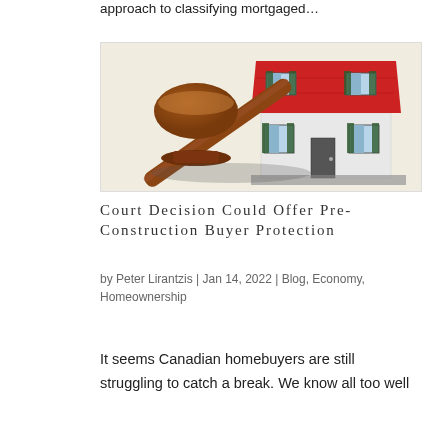approach to classifying mortgaged…
[Figure (photo): A wooden judge's gavel lying in front of a white miniature house model with a red roof and green shutters, on a light background.]
Court Decision Could Offer Pre-Construction Buyer Protection
by Peter Lirantzis | Jan 14, 2022 | Blog, Economy, Homeownership
It seems Canadian homebuyers are still struggling to catch a break. We know all too well